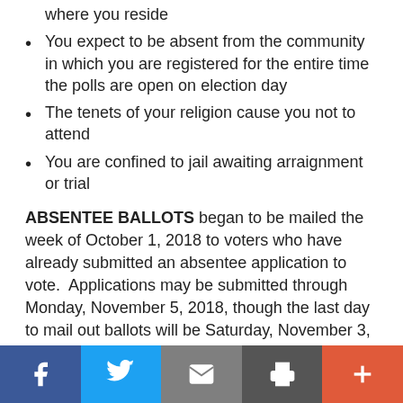where you reside
You expect to be absent from the community in which you are registered for the entire time the polls are open on election day
The tenets of your religion cause you not to attend
You are confined to jail awaiting arraignment or trial
ABSENTEE BALLOTS began to be mailed the week of October 1, 2018 to voters who have already submitted an absentee application to vote.  Applications may be submitted through Monday, November 5, 2018, though the last day to mail out ballots will be Saturday, November 3, 2018.  Those submitting an absentee application to vote in person on the day before the election MUST vote i City Hall and return the ballot